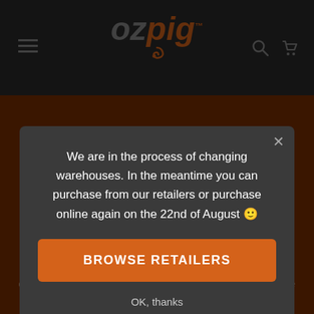[Figure (screenshot): OzPig website navigation bar with hamburger menu, OzPig logo in grey and orange italic text, search and cart icons on dark background]
years, both at home and while travelling. I like the compactness, the ability to break it down for travel and the convenience to cook just about anything at all. I wouldn't be
We are in the process of changing warehouses. In the meantime you can purchase from our retailers or purchase online again on the 22nd of August 🙂
BROWSE RETAILERS
OK, thanks